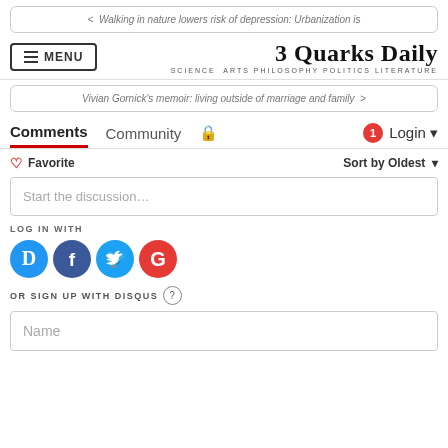< Walking in nature lowers risk of depression: Urbanization is
3 Quarks Daily — SCIENCE ARTS PHILOSOPHY POLITICS LITERATURE
Vivian Gornick's memoir: living outside of marriage and family >
Comments | Community | Login
Favorite | Sort by Oldest
Start the discussion…
LOG IN WITH
[Figure (infographic): Social login icons: Disqus (D), Facebook (f), Twitter bird, Google (G)]
OR SIGN UP WITH DISQUS ?
Name